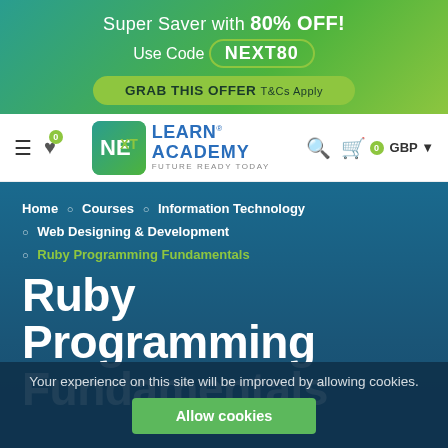[Figure (infographic): Promotional banner: Super Saver with 80% OFF! Use Code NEXT80. GRAB THIS OFFER T&Cs Apply]
[Figure (logo): Next Learn Academy logo with navigation bar including hamburger menu, heart icon, search icon, cart and GBP currency selector]
Home ○ Courses ○ Information Technology ○ Web Designing & Development ○ Ruby Programming Fundamentals
Ruby Programming Fundamentals
Your experience on this site will be improved by allowing cookies. Allow cookies